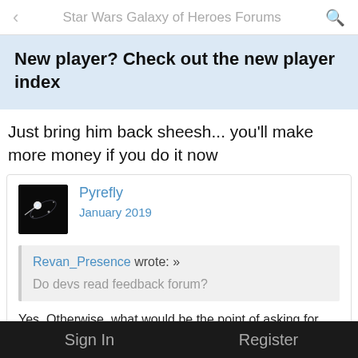Star Wars Galaxy of Heroes Forums
New player? Check out the new player index
Just bring him back sheesh... you'll make more money if you do it now
Pyrefly
January 2019
Revan_Presence wrote: »
Do devs read feedback forum?
Yes. Otherwise, what would be the point of asking for feedback?
Sign In    Register